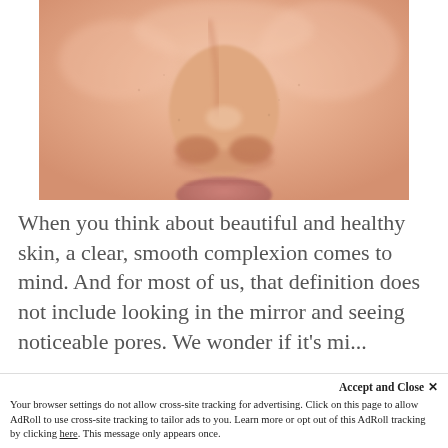[Figure (photo): Close-up photograph of a person's nose, lips area and skin, showing skin texture and pores. The skin has a pinkish-beige tone.]
When you think about beautiful and healthy skin, a clear, smooth complexion comes to mind. And for most of us, that definition does not include looking in the mirror and seeing noticeable pores. We wonder if it's possible...
Accept and Close ×
Your browser settings do not allow cross-site tracking for advertising. Click on this page to allow AdRoll to use cross-site tracking to tailor ads to you. Learn more or opt out of this AdRoll tracking by clicking here. This message only appears once.